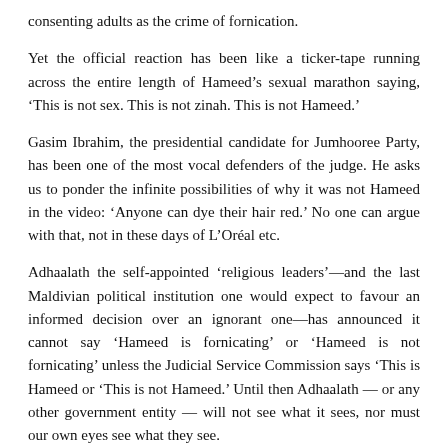consenting adults as the crime of fornication.
Yet the official reaction has been like a ticker-tape running across the entire length of Hameed’s sexual marathon saying, ‘This is not sex. This is not zinah. This is not Hameed.’
Gasim Ibrahim, the presidential candidate for Jumhooree Party, has been one of the most vocal defenders of the judge. He asks us to ponder the infinite possibilities of why it was not Hameed in the video: ‘Anyone can dye their hair red.’ No one can argue with that, not in these days of L’Oréal etc.
Adhaalath the self-appointed ‘religious leaders’—and the last Maldivian political institution one would expect to favour an informed decision over an ignorant one—has announced it cannot say ‘Hameed is fornicating’ or ‘Hameed is not fornicating’ unless the Judicial Service Commission says ‘This is Hameed or ‘This is not Hameed.’ Until then Adhaalath — or any other government entity — will not see what it sees, nor must our own eyes see what they see.
In November last year, 38 MPs in Majlis agreed President of the Civil Service Commission, Mohamed Fahmy, was more likely than not to have sexually harassed a female servant as she alleged. They voted to